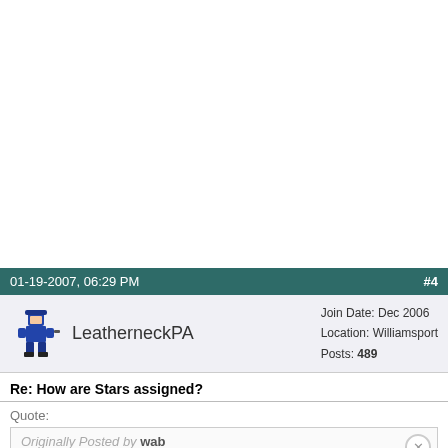01-19-2007, 06:29 PM   #4
LeatherneckPA  Join Date: Dec 2006  Location: Williamsport  Posts: 489
Re: How are Stars assigned?
Quote:
Originally Posted by wab  .....maybe we could replace them with something more